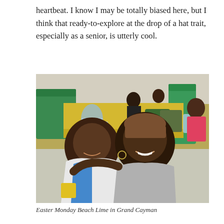heartbeat. I know I may be totally biased here, but I think that ready-to-explore at the drop of a hat trait, especially as a senior, is utterly cool.
[Figure (photo): Two women smiling and posing together at an outdoor beach picnic area with yellow wooden benches and green pillars. One woman is older, wrapped in a white and blue towel; the other is younger wearing a brown cap and grey towel. Background shows other people and bags including a LIME branded bag.]
Easter Monday Beach Lime in Grand Cayman